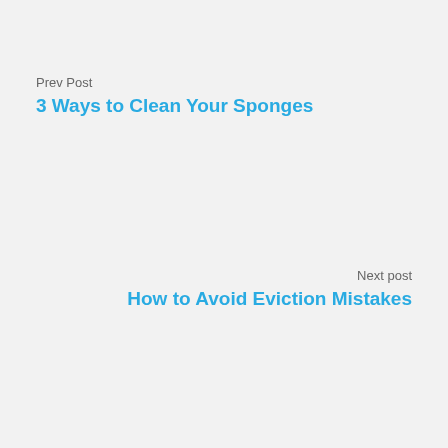Prev Post
3 Ways to Clean Your Sponges
Next post
How to Avoid Eviction Mistakes